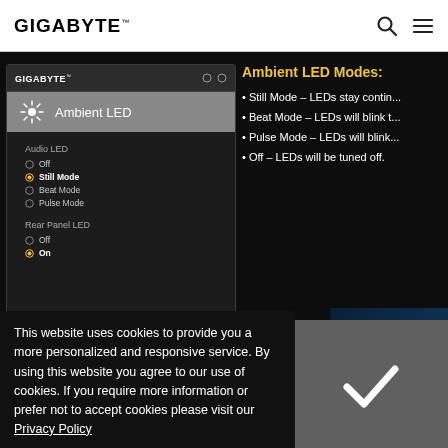GIGABYTE
[Figure (screenshot): GIGABYTE software panel showing Ambient LED settings with Audio LED options (Off, Still Mode selected, Beat Mode, Pulse Mode) and Rear Panel LED options (Off, On selected)]
Ambient LED Modes:
Still Mode – LEDs stay contin...
Beat Mode – LEDs will blink t...
Pulse Mode – LEDs will blink...
Off – LEDs will be tuned off.
[Figure (illustration): 3D Industry banner with circuit board illustration and '3D INDUSTRY >' label]
This website uses cookies to provide you a more personalized and responsive service. By using this website you agree to our use of cookies. If you require more information or prefer not to accept cookies please visit our Privacy Policy